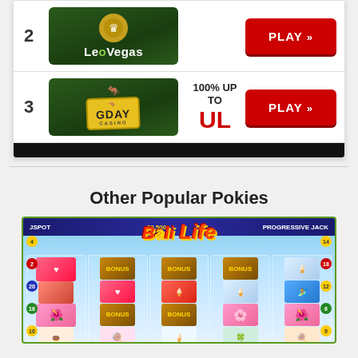[Figure (screenshot): Casino comparison table showing LeoVegas (#2) and GDay Casino (#3) with play buttons. GDay Casino shows bonus '100% UP TO UL'. Both have red PLAY >> buttons.]
Other Popular Pokies
[Figure (screenshot): Screenshot of Bali Life online pokies slot machine game showing colorful reels with symbols including hearts, bonus chests, ice cream, flowers, and surf boards. Title banner reads 'Bali Life' in red/yellow text.]